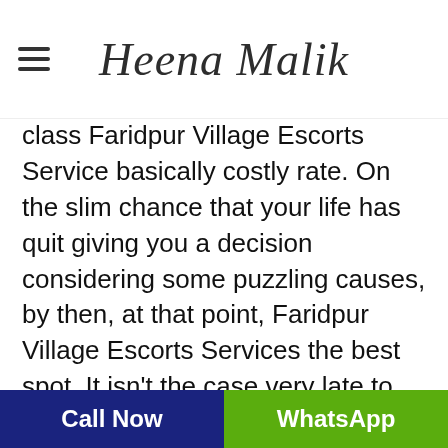Heena Malik
class Faridpur Village Escorts Service basically costly rate. On the slim chance that your life has quit giving you a decision considering some puzzling causes, by then, at that point, Faridpur Village Escorts Services the best spot. It isn't the case very late to make it engaging. It is only your decisions, who are such amigos, who can make your life beguiling in the event that you put in no exertion with our quality model adolescents. There is no such spot to perceive our Model young women. Faridpur Village Escorts Service viewpoint has accomplished a dating scene where individuals are never under any circumstance in cost, it shows up. They are dependably on the spot, perpetually being
Call Now  WhatsApp